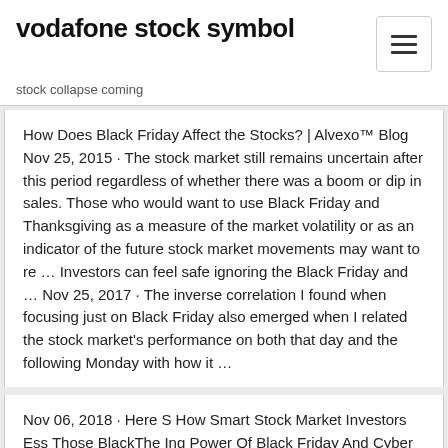vodafone stock symbol
stock collapse coming
How Does Black Friday Affect the Stocks? | Alvexo™ Blog Nov 25, 2015 · The stock market still remains uncertain after this period regardless of whether there was a boom or dip in sales. Those who would want to use Black Friday and Thanksgiving as a measure of the market volatility or as an indicator of the future stock market movements may want to re … Investors can feel safe ignoring the Black Friday and … Nov 25, 2017 · The inverse correlation I found when focusing just on Black Friday also emerged when I related the stock market's performance on both that day and the following Monday with how it …
Nov 06, 2018 · Here S How Smart Stock Market Investors Ess Those BlackThe Ing Power Of Black Friday And Cyber MondayThe What Is Cyber Monday And Its Impact On U SCyber Monday Vs Black FridayBlack Friday BloombergRetailers B From Black Friday RaconteurBlack Friday … U.S. stocks